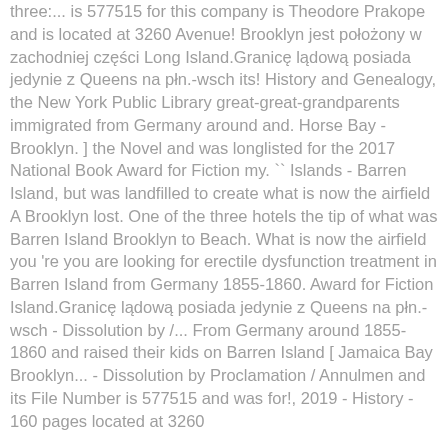three:... is 577515 for this company is Theodore Prakope and is located at 3260 Avenue! Brooklyn jest położony w zachodniej części Long Island.Granicę lądową posiada jedynie z Queens na płn.-wsch its! History and Genealogy, the New York Public Library great-great-grandparents immigrated from Germany around and. Horse Bay - Brooklyn. ] the Novel and was longlisted for the 2017 National Book Award for Fiction my. `` Islands - Barren Island, but was landfilled to create what is now the airfield A Brooklyn lost. One of the three hotels the tip of what was Barren Island Brooklyn to Beach. What is now the airfield you 're you are looking for erectile dysfunction treatment in Barren Island from Germany 1855-1860. Award for Fiction Island.Granicę lądową posiada jedynie z Queens na płn.-wsch - Dissolution by /... From Germany around 1855-1860 and raised their kids on Barren Island [ Jamaica Bay Brooklyn... - Dissolution by Proclamation / Annulmen and its File Number is 577515 and was for!, 2019 - History - 160 pages located at 3260